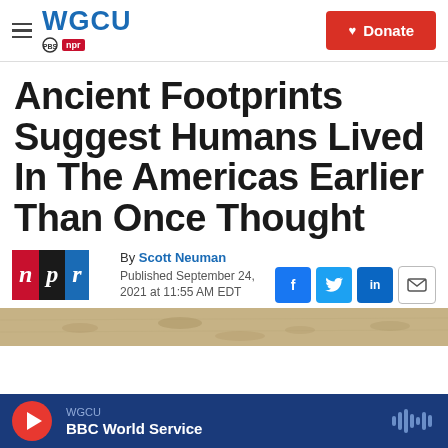WGCU PBS NPR — Donate
Ancient Footprints Suggest Humans Lived In The Americas Earlier Than Once Thought
By Scott Neuman
Published September 24, 2021 at 11:55 AM EDT
[Figure (photo): Partial view of ancient footprints in sediment]
WGCU | BBC World Service (audio player bar)